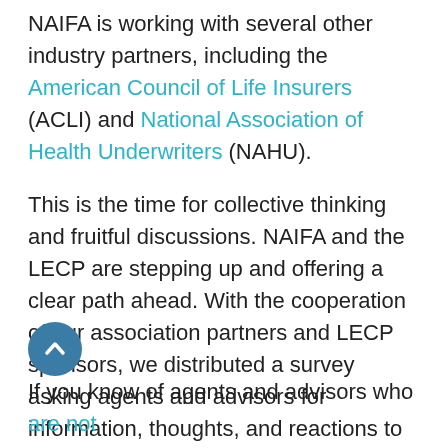NAIFA is working with several other industry partners, including the American Council of Life Insurers (ACLI) and National Association of Health Underwriters (NAHU).
This is the time for collective thinking and fruitful discussions. NAIFA and the LECP are stepping up and offering a clear path ahead. With the cooperation of our association partners and LECP sponsors, we distributed a survey asking agents and advisors for information, thoughts, and reactions to the Washington State Cares Trust. The results will be an important resource to inform the LWG's advocacy work moving forward.
If you know of agents and advisors who are not